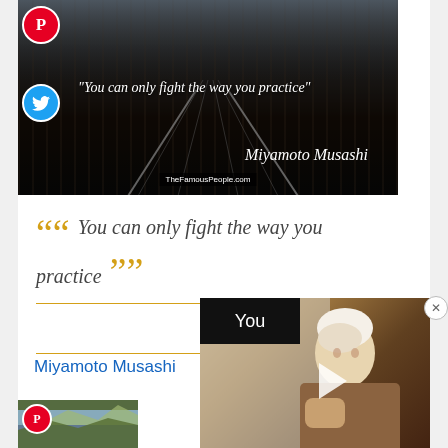[Figure (photo): Dark boardwalk path photo with quote overlay: "You can only fight the way you practice" and cursive signature Miyamoto Musashi, with Pinterest and Twitter share buttons, watermark TheFamousPeople.com]
“You can only fight the way you practice”
Miyamoto Musashi
You can only fight the way you practice
Miyamoto Musashi
[Figure (photo): Video overlay showing an elderly person with white hair, with a play button overlay and YouTube branding, and a close (X) button]
[Figure (photo): Bottom preview image showing landscape with Pinterest share button overlay]